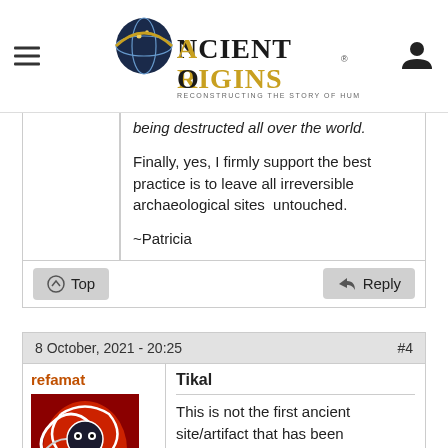Ancient Origins — Reconstructing the story of humanity's past
being destructed all over the world.

Finally, yes, I firmly support the best practice is to leave all irreversible archaeological sites untouched.

~Patricia
Top | Reply
8 October, 2021 - 20:25 | #4
refamat
Tikal
This is not the first ancient site/artifact that has been destroyed, maybe the most famous and covered up is King Tut's mummy.